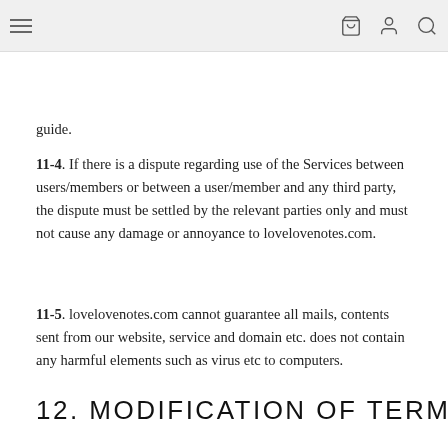Navigation bar with hamburger menu, cart, user, and search icons
guide.
11-4. If there is a dispute regarding use of the Services between users/members or between a user/member and any third party, the dispute must be settled by the relevant parties only and must not cause any damage or annoyance to lovelovenotes.com.
11-5. lovelovenotes.com cannot guarantee all mails, contents sent from our website, service and domain etc. does not contain any harmful elements such as virus etc to computers.
12. MODIFICATION OF TERMS
These Terms of Use may be modified from time to time. You should therefore read these Terms of Use and the order terms before you place any order regularly.
13. GOVERNING LAW